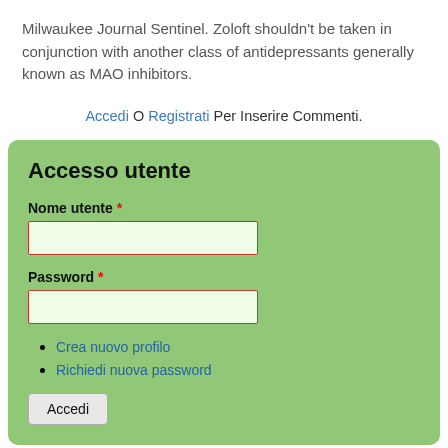Milwaukee Journal Sentinel. Zoloft shouldn't be taken in conjunction with another class of antidepressants generally known as MAO inhibitors.
Accedi O Registrati Per Inserire Commenti.
Accesso utente
Nome utente *
Password *
Crea nuovo profilo
Richiedi nuova password
Accedi